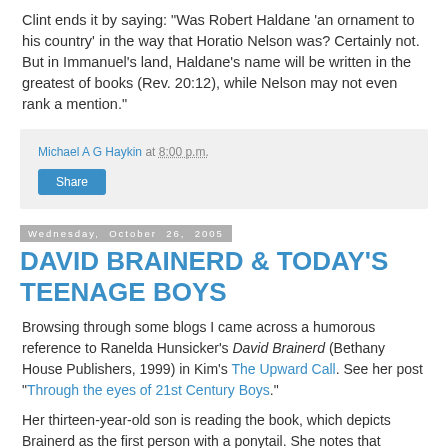Clint ends it by saying: “Was Robert Haldane ‘an ornament to his country’ in the way that Horatio Nelson was? Certainly not. But in Immanuel’s land, Haldane’s name will be written in the greatest of books (Rev. 20:12), while Nelson may not even rank a mention.”
Michael A G Haykin at 8:00 p.m.
Share
Wednesday, October 26, 2005
DAVID BRAINERD & TODAY’S TEENAGE BOYS
Browsing through some blogs I came across a humorous reference to Ranelda Hunsicker’s David Brainerd (Bethany House Publishers, 1999) in Kim’s The Upward Call. See her post “Through the eyes of 21st Century Boys.”
Her thirteen-year-old son is reading the book, which depicts Brainerd as the first person with a ponytail. She notes that